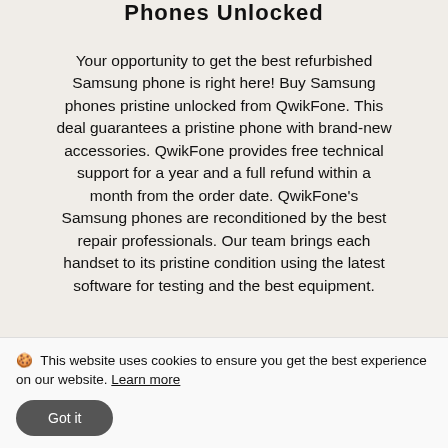Phones Unlocked
Your opportunity to get the best refurbished Samsung phone is right here! Buy Samsung phones pristine unlocked from QwikFone. This deal guarantees a pristine phone with brand-new accessories. QwikFone provides free technical support for a year and a full refund within a month from the order date. QwikFone's Samsung phones are reconditioned by the best repair professionals. Our team brings each handset to its pristine condition using the latest software for testing and the best equipment.
1. What is the condition of the...
🍪 This website uses cookies to ensure you get the best experience on our website. Learn more
Got it